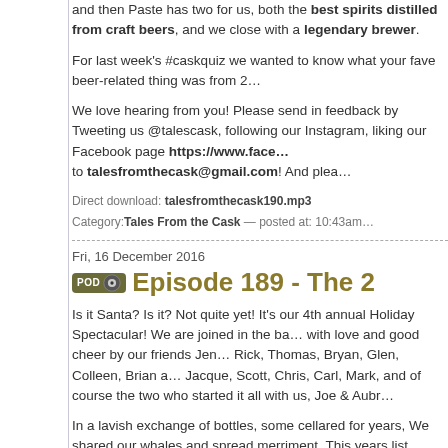and then Paste has two for us, both the best spirits distilled from craft beers, and we close with a legendary brewer.
For last week's #caskquiz we wanted to know what your fave beer-related thing was from 2...
We love hearing from you! Please send in feedback by Tweeting us @talescask, following our Instagram, liking our Facebook page https://www.face... to talesfromthecask@gmail.com! And plea...
Direct download: talesfromthecask190.mp3
Category: Tales From the Cask -- posted at: 10:43am...
Fri, 16 December 2016
Episode 189 - The 2...
Is it Santa? Is it? Not quite yet! It's our 4th a... Holiday Spectacular! We are joined in the ba... with love and good cheer by our friends Jen... Rick, Thomas, Bryan, Glen, Colleen, Brian a... Jacque, Scott, Chris, Carl, Mark, and of cou... the two who started it all with us, Joe & Aubr...
In a lavish exchange of bottles, some cellare... years, We shared our whales and spread merriment. This years list included:
Carolina Brewing Company Quad
Carolina Brewing Company Imperial Stou...
Ballast Point Peppermint VAS
Ballast Point Employee Release BA Stout...